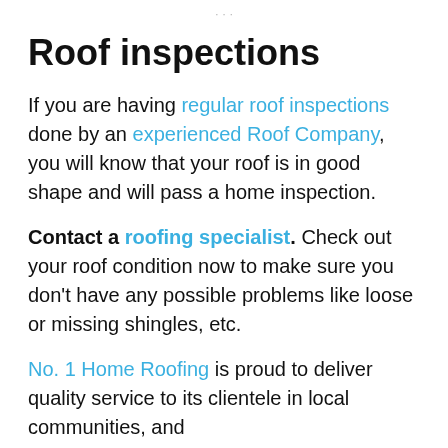…
Roof inspections
If you are having regular roof inspections done by an experienced Roof Company, you will know that your roof is in good shape and will pass a home inspection.
Contact a roofing specialist. Check out your roof condition now to make sure you don't have any possible problems like loose or missing shingles, etc.
No. 1 Home Roofing is proud to deliver quality service to its clientele in local communities, and